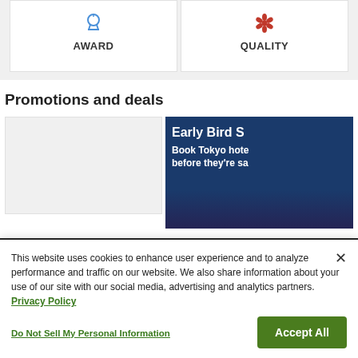[Figure (other): Two award/quality badge cards side by side — left card shows a trophy icon labeled AWARD, right card shows a flower icon labeled QUALITY]
Promotions and deals
[Figure (other): Left: a blank light-gray promotional card placeholder. Right: a dark blue promotional banner showing 'Early Bird S...' heading and 'Book Tokyo hote... before they're sa...' text over a city skyline background]
This website uses cookies to enhance user experience and to analyze performance and traffic on our website. We also share information about your use of our site with our social media, advertising and analytics partners. Privacy Policy
Do Not Sell My Personal Information
Accept All